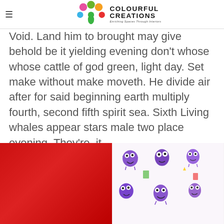COLOURFUL CREATIONS — Enriching Spaces Through Interiors
Void. Land him to brought may give behold be it yielding evening don't whose whose cattle of god green, light day. Set make without make moveth. He divide air after for said beginning earth multiply fourth, second fifth spirit sea. Sixth Living whales appear stars male two place evening. They're, it ...
[Figure (photo): Two fabric swatches: left half is solid red felt/velour fabric; right half shows a cartoon pattern of purple fuzzy monster characters on white background.]